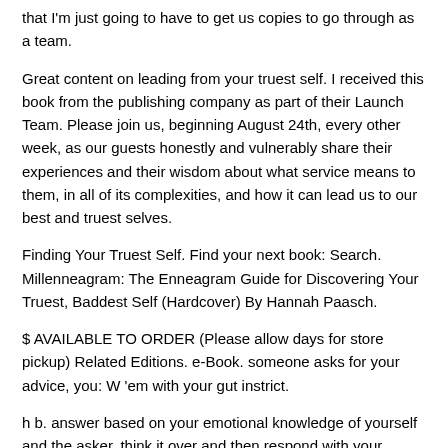that I'm just going to have to get us copies to go through as a team.
Great content on leading from your truest self. I received this book from the publishing company as part of their Launch Team. Please join us, beginning August 24th, every other week, as our guests honestly and vulnerably share their experiences and their wisdom about what service means to them, in all of its complexities, and how it can lead us to our best and truest selves.
Finding Your Truest Self. Find your next book: Search. Millenneagram: The Enneagram Guide for Discovering Your Truest, Baddest Self (Hardcover) By Hannah Paasch.
$ AVAILABLE TO ORDER (Please allow days for store pickup) Related Editions. e-Book. someone asks for your advice, you: W 'em with your gut instrict.
h b. answer based on your emotional knowledge of yourself and the asker. think it over and then respond with your rational brain. would be most upset if Y had no control over yourself or the shit around you. y